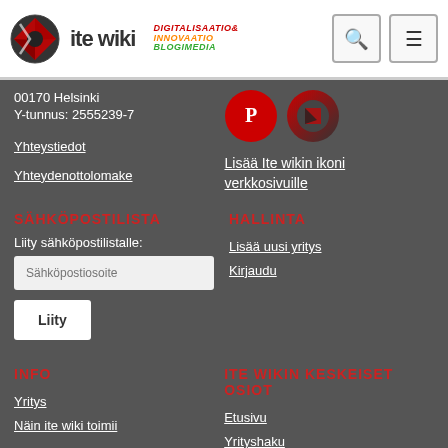ite wiki — DIGITALISAATIO& INNOVAATIO BLOGIMEDIA
00170 Helsinki
Y-tunnus: 2555239-7
Yhteystiedot
Yhteydenottolomake
[Figure (logo): Pinterest icon (red circle with P) and Scribd icon (dark circle)]
Lisää Ite wikin ikoni verkkosivuille
SÄHKÖPOSTILISTA
Liity sähköpostilistalle:
Sähköpostiosoite (input field)
Liity (button)
HALLINTA
Lisää uusi yritys
Kirjaudu
INFO
Yritys
Näin ite wiki toimii
ITE WIKIN KESKEISET OSIOT
Etusivu
Yrityshaku